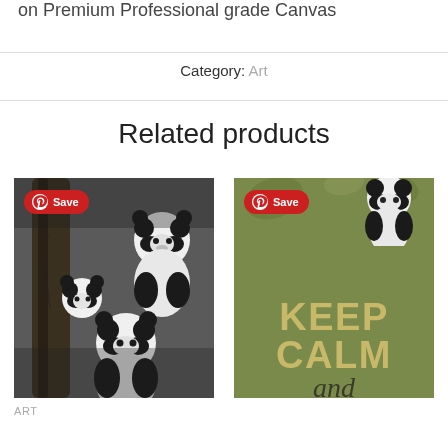on Premium Professional grade Canvas
Category:  Art
Related products
[Figure (photo): Black and white photo of three giant pandas climbing a tree, with a red Pinterest Save badge overlay in the top left.]
ART
[Figure (illustration): Olive green poster with bold text reading KEEP CALM and LOVE, with a panda illustration at the top, and a red Pinterest Save badge overlay in the top left.]